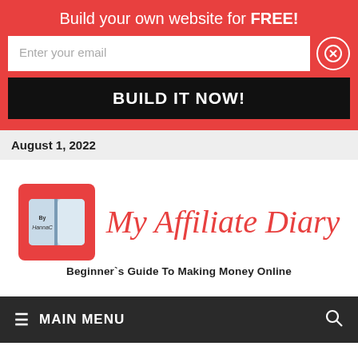Build your own website for FREE!
Enter your email
BUILD IT NOW!
August 1, 2022
[Figure (logo): My Affiliate Diary logo — red square with open book icon showing 'By HannaC', next to italic red script text 'My Affiliate Diary' and bold tagline 'Beginner`s Guide To Making Money Online']
≡ MAIN MENU
RESOURCES